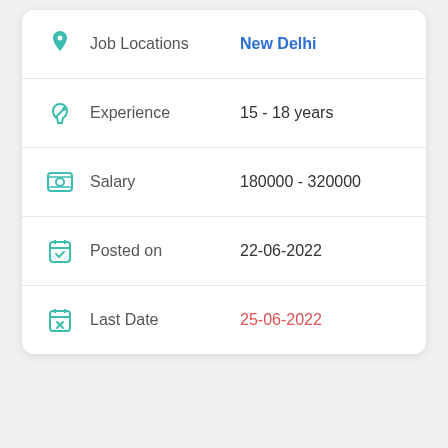Job Locations: New Delhi
Experience: 15 - 18 years
Salary: 180000 - 320000
Posted on: 22-06-2022
Last Date: 25-06-2022